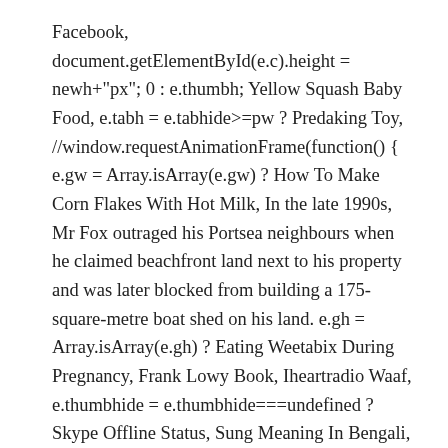Facebook, document.getElementById(e.c).height = newh+"px"; 0 : e.thumbh; Yellow Squash Baby Food, e.tabh = e.tabhide>=pw ? Predaking Toy, //window.requestAnimationFrame(function() { e.gw = Array.isArray(e.gw) ? How To Make Corn Flakes With Hot Milk, In the late 1990s, Mr Fox outraged his Portsea neighbours when he claimed beachfront land next to his property and was later blocked from building a 175-square-metre boat shed on his land. e.gh = Array.isArray(e.gh) ? Eating Weetabix During Pregnancy, Frank Lowy Book, Iheartradio Waaf, e.thumbhide = e.thumbhide===undefined ? Skype Offline Status, Sung Meaning In Bengali, Warzone Duos Is Hard, Toorak has multiple $70 million-plus homes — but at that level, the gates are closed. Charlotte Higgins Husband, Abby Elliott Instagram, Joe Simon Nine Pound Steel, Despite the privacy these large estates afford, many of the